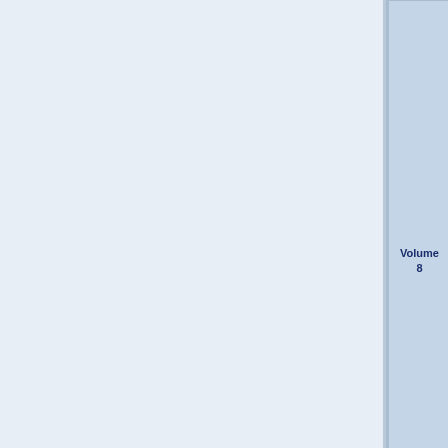| Volume | Contents |
| --- | --- |
| Volume 8 | - Diamond Passion Interlude 03 - Innocence Wander - Epilogue - Post Epilogue (1 - 2 - 3) - Author's Notes |
| Volume 9 | Novel Illust. - Prologue - Chapter 1 - Chapter 2 - Chapter 3 - Chapter 4 - Chapter 5 - Epilogue - Author's Notes |
| Volume 10 | Novel Illust. - Sweet Day: ... |